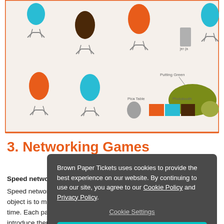[Figure (infographic): Venue/event layout diagram showing colored lollipop-style tree icons in orange, brown, cyan/blue on a beige background with an orange border. Includes a legend area showing Pica Table (gray oval), Photobooth (orange, cyan, brown rectangles), and a Putting Green (olive green blob shape). Some icons have X markers below them.]
3. Networking Games
Speed networking
Speed networking is an activity where the object is to meet as many people as you can in a short time. Each participant gets a set amount of time to introduce themselves, which varies depending on the
Brown Paper Tickets uses cookies to provide the best experience on our website. By continuing to use our site, you agree to our Cookie Policy and Privacy Policy.
Cookie Settings
Accept